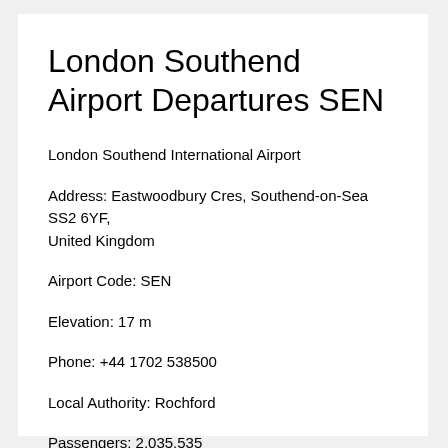London Southend Airport Departures SEN
London Southend International Airport
Address: Eastwoodbury Cres, Southend-on-Sea SS2 6YF, United Kingdom
Airport Code: SEN
Elevation: 17 m
Phone: +44 1702 538500
Local Authority: Rochford
Passengers: 2,035,535